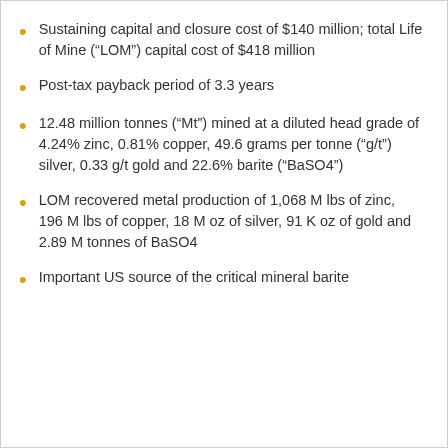Sustaining capital and closure cost of $140 million; total Life of Mine (“LOM”) capital cost of $418 million
Post-tax payback period of 3.3 years
12.48 million tonnes (“Mt”) mined at a diluted head grade of 4.24% zinc, 0.81% copper, 49.6 grams per tonne (“g/t”) silver, 0.33 g/t gold and 22.6% barite (“BaSO4”)
LOM recovered metal production of 1,068 M lbs of zinc, 196 M lbs of copper, 18 M oz of silver, 91 K oz of gold and 2.89 M tonnes of BaSO4
Important US source of the critical mineral barite